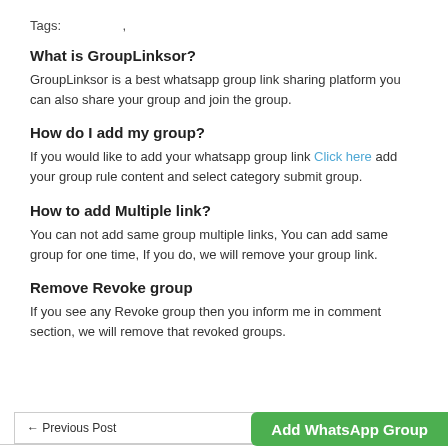Tags:  ,
What is GroupLinksor?
GroupLinksor is a best whatsapp group link sharing platform you can also share your group and join the group.
How do I add my group?
If you would like to add your whatsapp group link Click here add your group rule content and select category submit group.
How to add Multiple link?
You can not add same group multiple links, You can add same group for one time, If you do, we will remove your group link.
Remove Revoke group
If you see any Revoke group then you inform me in comment section, we will remove that revoked groups.
← Previous Post  |  Next Post →  Add WhatsApp Group